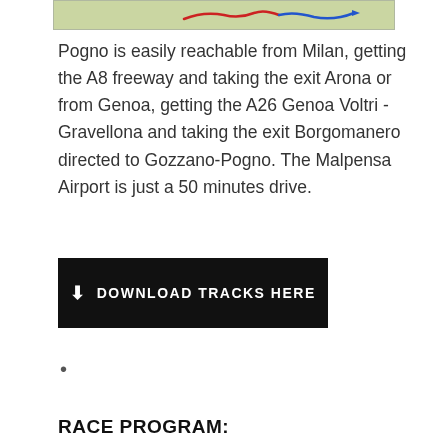[Figure (map): Partial map image showing route lines in red and blue on a green/terrain background]
Pogno is easily reachable from Milan, getting the A8 freeway and taking the exit Arona or from Genoa, getting the A26 Genoa Voltri -Gravellona and taking the exit Borgomanero directed to Gozzano-Pogno. The Malpensa Airport is just a 50 minutes drive.
DOWNLOAD TRACKS HERE
• • •
RACE PROGRAM: